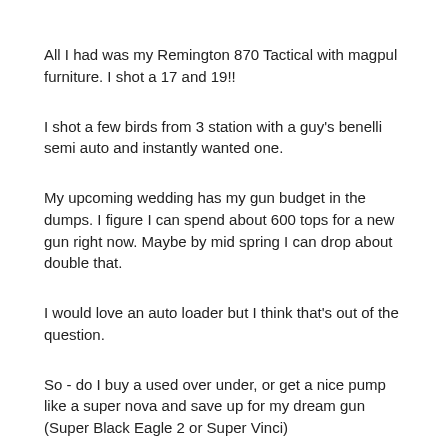All I had was my Remington 870 Tactical with magpul furniture. I shot a 17 and 19!!
I shot a few birds from 3 station with a guy's benelli semi auto and instantly wanted one.
My upcoming wedding has my gun budget in the dumps. I figure I can spend about 600 tops for a new gun right now. Maybe by mid spring I can drop about double that.
I would love an auto loader but I think that's out of the question.
So - do I buy a used over under, or get a nice pump like a super nova and save up for my dream gun (Super Black Eagle 2 or Super Vinci)